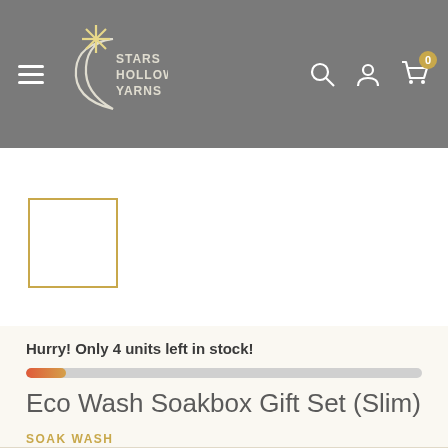Stars Hollow Yarns – navigation header with logo, hamburger menu, search, account, and cart icons
[Figure (screenshot): Product thumbnail image placeholder with gold border]
Hurry! Only 4 units left in stock!
Eco Wash Soakbox Gift Set (Slim)
SOAK WASH